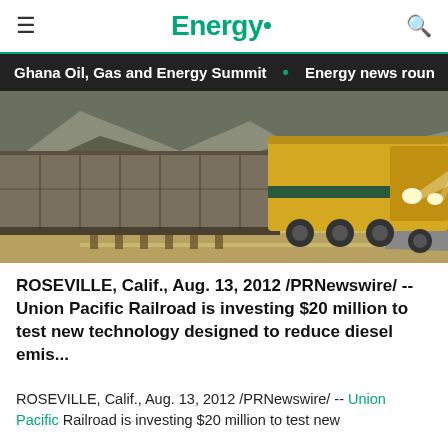Energy.
Ghana Oil, Gas and Energy Summit • Energy news roun
[Figure (photo): A freight train with yellow locomotive on railroad tracks, photographed at low angle showing train cars and locomotive headlights.]
ROSEVILLE, Calif., Aug. 13, 2012 /PRNewswire/ -- Union Pacific Railroad is investing $20 million to test new technology designed to reduce diesel emis...
ROSEVILLE, Calif., Aug. 13, 2012 /PRNewswire/ -- Union Pacific Railroad is investing $20 million to test new